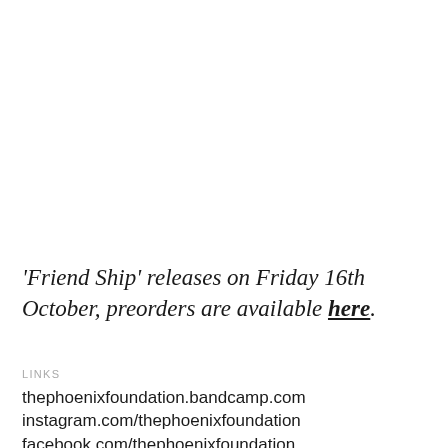'Friend Ship' releases on Friday 16th October, preorders are available here.
LINKS
thephoenixfoundation.bandcamp.com
instagram.com/thephoenixfoundation
facebook.com/thephoenixfoundation